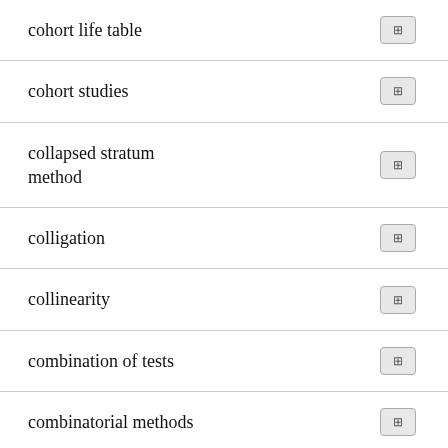| Term | Reference |
| --- | --- |
| cohort life table | ⊞ |
| cohort studies | ⊞ |
| collapsed stratum method | ⊞ |
| colligation | ⊞ |
| collinearity | ⊞ |
| combination of tests | ⊞ |
| combinatorial methods | ⊞ |
| combinatorial power mean | ⊞ |